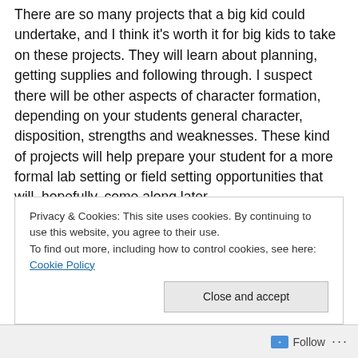There are so many projects that a big kid could undertake, and I think it's worth it for big kids to take on these projects. They will learn about planning, getting supplies and following through. I suspect there will be other aspects of character formation, depending on your students general character, disposition, strengths and weaknesses. These kind of projects will help prepare your student for a more formal lab setting or field setting opportunities that will, hopefully, come along later.

I am open to other ideas, should a student have an area they are particularly interested in. Please, present those
Privacy & Cookies: This site uses cookies. By continuing to use this website, you agree to their use.
To find out more, including how to control cookies, see here: Cookie Policy
Close and accept
Follow